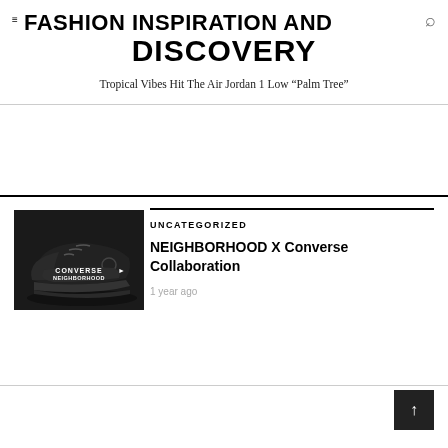≡ FASHION INSPIRATION AND DISCOVERY
DISCOVERY
Tropical Vibes Hit The Air Jordan 1 Low “Palm Tree”
[Figure (photo): Close-up photo of a dark Converse x Neighborhood collaboration sneaker showing the co-branded insole with 'CONVERSE' and 'NEIGHBORHOOD' text in white on dark background]
UNCATEGORIZED
NEIGHBORHOOD X Converse Collaboration
1 year ago